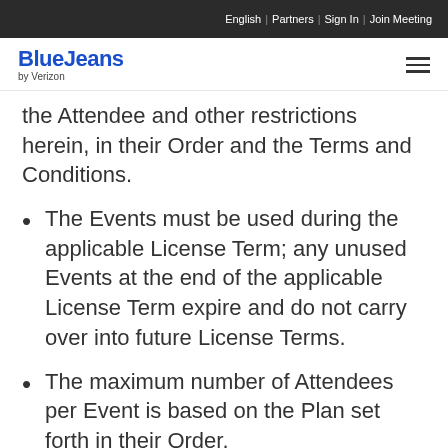English | Partners | Sign In | Join Meeting
BlueJeans by Verizon
the Attendee and other restrictions herein, in their Order and the Terms and Conditions.
The Events must be used during the applicable License Term; any unused Events at the end of the applicable License Term expire and do not carry over into future License Terms.
The maximum number of Attendees per Event is based on the Plan set forth in their Order.